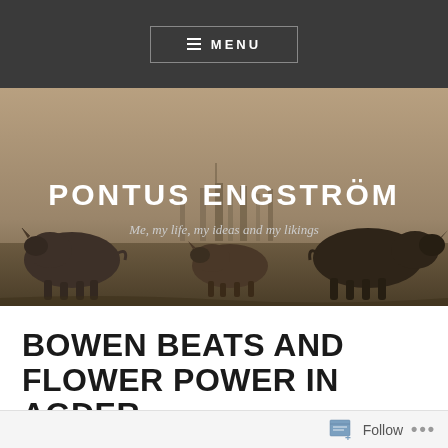≡ MENU
[Figure (photo): Hero banner image showing rhinos grazing on a savanna with a city skyline in the background, in a warm sepia/brown tone. Overlaid with the blog title and subtitle.]
PONTUS ENGSTRÖM
Me, my life, my ideas and my likings
BOWEN BEATS AND FLOWER POWER IN AGDER
Follow ...